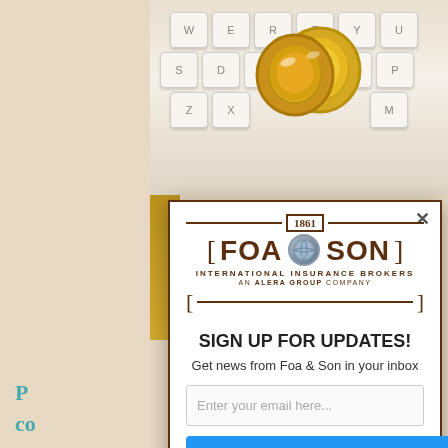[Figure (photo): Photo of wedding rings resting on a white keyboard with gold/yellow accents on left side]
[Figure (screenshot): Modal popup overlay showing Foa & Son International Insurance Brokers newsletter signup form with email input and send button]
SIGN UP FOR UPDATES!
Get news from Foa & Son in your inbox
Enter your email here...
Send Me The Newsletter